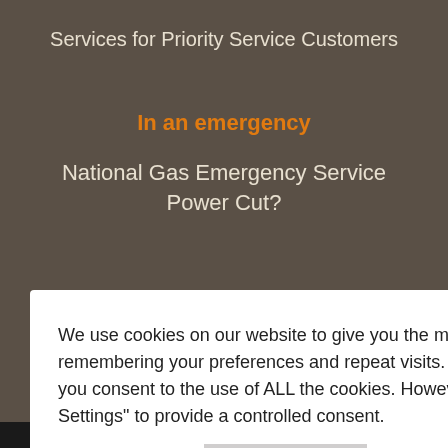Services for Priority Service Customers
In an emergency
National Gas Emergency Service
Power Cut?
We use cookies on our website to give you the most relevant experience by remembering your preferences and repeat visits. By clicking “ACCEPT ALL”, you consent to the use of ALL the cookies. However, you may visit "Cookie Settings" to provide a controlled consent.
Cookie Settings
REJECT ALL
ACCEPT ALL
© 2022 Energy Assets Group Limited. Registered and